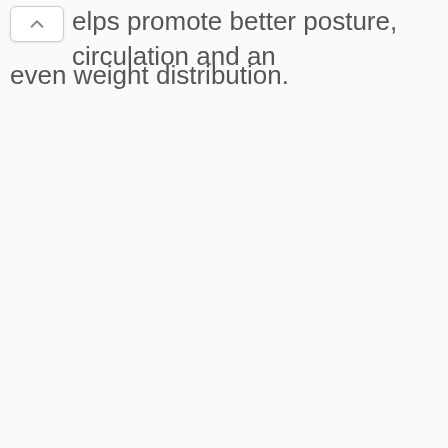elps promote better posture, circulation and an even weight distribution.